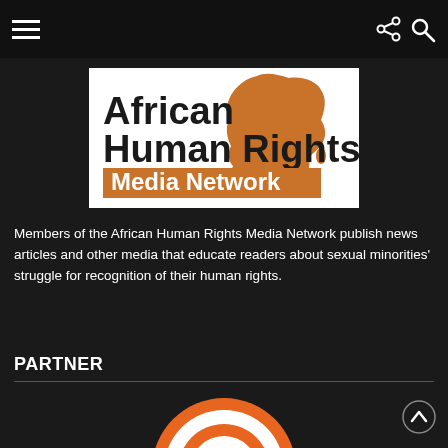[Figure (logo): African Human Rights Media Network logo with Africa map silhouette in brown/orange and text]
Members of the African Human Rights Media Network publish news articles and other media that educate readers about sexual minorities' struggle for recognition of their human rights.
PARTNER
[Figure (logo): St. Paul's Foundation logo, circular badge in orange and white, partially visible]